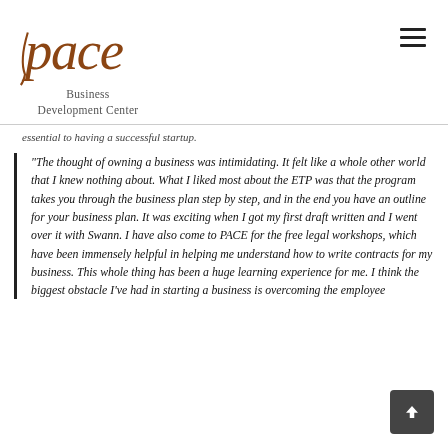[Figure (logo): PACE Business Development Center logo with stylized brown cursive 'pace' text and subtitle 'Business Development Center']
essential to having a successful startup.
“The thought of owning a business was intimidating. It felt like a whole other world that I knew nothing about. What I liked most about the ETP was that the program takes you through the business plan step by step, and in the end you have an outline for your business plan. It was exciting when I got my first draft written and I went over it with Swann. I have also come to PACE for the free legal workshops, which have been immensely helpful in helping me understand how to write contracts for my business. This whole thing has been a huge learning experience for me. I think the biggest obstacle I’ve had in starting a business is overcoming the employee